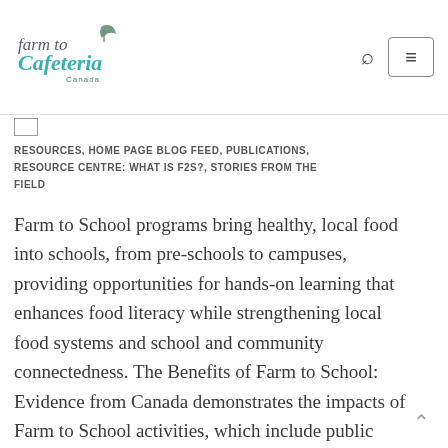farm to Cafeteria Canada [logo]
RESOURCES, HOME PAGE BLOG FEED, PUBLICATIONS, RESOURCE CENTRE: WHAT IS F2S?, STORIES FROM THE FIELD
Farm to School programs bring healthy, local food into schools, from pre-schools to campuses, providing opportunities for hands-on learning that enhances food literacy while strengthening local food systems and school and community connectedness. The Benefits of Farm to School: Evidence from Canada demonstrates the impacts of Farm to School activities, which include public health, education and learning,...